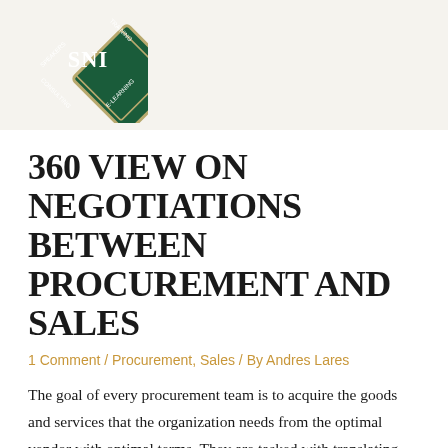[Figure (logo): SNI diamond-shaped logo with text: SPEAKERS, TRAINING, CONSULTING, E-LEARNING, SNI in center]
360 VIEW ON NEGOTIATIONS BETWEEN PROCUREMENT AND SALES
1 Comment / Procurement, Sales / By Andres Lares
The goal of every procurement team is to acquire the goods and services that the organization needs from the optimal vendor with optimal terms. They are tasked with translating another business unit's needs into a streamlined purchasing process – which often means RFIs and RFPs to narrow the field and eventually compare